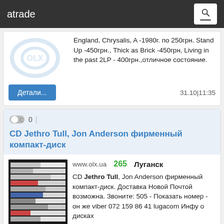atrade
England, Chrysalis, A -1980г. по 250грн. Stand Up -450грн., Thick as Brick -450грн, Living in the past 2LP - 400грн.,отличное состояние.
Детали...   31.10|11:35
CD Jethro Tull, Jon Anderson фирменный компакт-диск
www.olx.ua  265  Луганск
CD Jethro Tull, Jon Anderson фирменный компакт-диск. Доставка Новой Почтой возможна. Звоните: 505 - Показать номер - он же viber 072 159 86 41 lugacom Инфу о дисках смотрите в инете, например на «discogs», вбив код